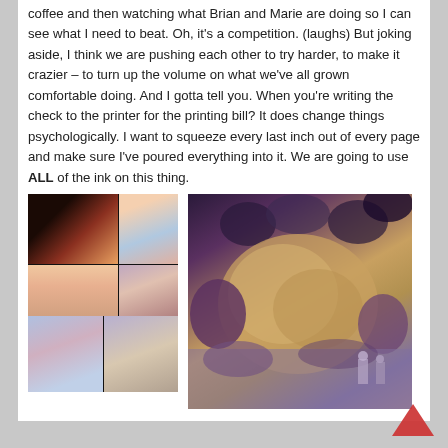coffee and then watching what Brian and Marie are doing so I can see what I need to beat. Oh, it's a competition. (laughs) But joking aside, I think we are pushing each other to try harder, to make it crazier – to turn up the volume on what we've all grown comfortable doing. And I gotta tell you. When you're writing the check to the printer for the printing bill? It does change things psychologically. I want to squeeze every last inch out of every page and make sure I've poured everything into it. We are going to use ALL of the ink on this thing.
[Figure (illustration): Comic book page panels showing characters in colorful fantasy/sci-fi scenes with blue-skinned characters, crowd scenes, and pink/warm color palette]
[Figure (illustration): Fantasy illustration showing large organic rock-like creature or landscape with purple and gold tones, figures visible in lower right corner]